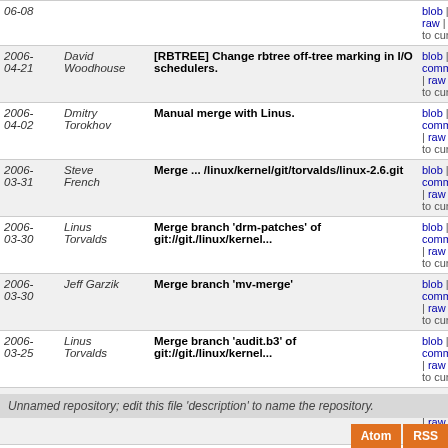| Date | Author | Message | Links |
| --- | --- | --- | --- |
| 2006-06-08 |  |  | blob | commitdiff | raw | diff to current |
| 2006-04-21 | David Woodhouse | [RBTREE] Change rbtree off-tree marking in I/O schedulers. | blob | commitdiff | raw | diff to current |
| 2006-04-02 | Dmitry Torokhov | Manual merge with Linus. | blob | commitdiff | raw | diff to current |
| 2006-03-31 | Steve French | Merge ... /linux/kernel/git/torvalds/linux-2.6.git | blob | commitdiff | raw | diff to current |
| 2006-03-30 | Linus Torvalds | Merge branch 'drm-patches' of git://git./linux/kernel... | blob | commitdiff | raw | diff to current |
| 2006-03-30 | Jeff Garzik | Merge branch 'mv-merge' | blob | commitdiff | raw | diff to current |
| 2006-03-25 | Linus Torvalds | Merge branch 'audit.b3' of git://git./linux/kernel... | blob | commitdiff | raw | diff to current |
| 2006-03-25 | Linus Torvalds | Merge /pub/scm/linux/kernel/git/davej/agpgart | blob | commitdiff | raw | diff to current |
| 2006-03-25 | Linus Torvalds | Merge /pub/scm/linux/kernel/git/davej/cpufreq | blob | commitdiff | raw | diff to current |
next
Unnamed repository; edit this file 'description' to name the repository.